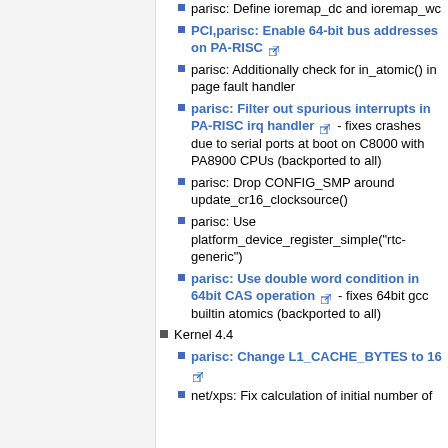parisc: Define ioremap_dc and ioremap_wc
PCI,parisc: Enable 64-bit bus addresses on PA-RISC [link]
parisc: Additionally check for in_atomic() in page fault handler
parisc: Filter out spurious interrupts in PA-RISC irq handler [link] - fixes crashes due to serial ports at boot on C8000 with PA8900 CPUs (backported to all)
parisc: Drop CONFIG_SMP around update_cr16_clocksource()
parisc: Use platform_device_register_simple("rtc-generic")
parisc: Use double word condition in 64bit CAS operation [link] - fixes 64bit gcc builtin atomics (backported to all)
Kernel 4.4
parisc: Change L1_CACHE_BYTES to 16 [link]
net/xps: Fix calculation of initial number of ...